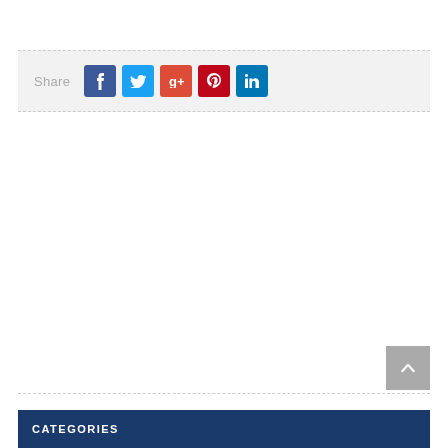[Figure (infographic): Share bar with social media icons: Facebook (blue), Twitter (light blue), Google+ (red-orange), Pinterest (red), LinkedIn (dark blue)]
[Figure (other): Scroll-to-top button with upward chevron arrow, gray background]
CATEGORIES